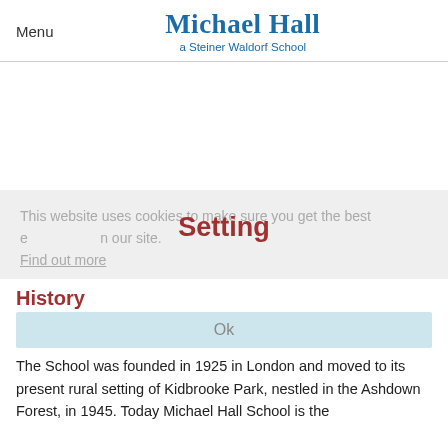Menu  Michael Hall  a Steiner Waldorf School
This website uses cookies to make sure you get the best experience on our site. Find out more
Setting
History
Ok
The School was founded in 1925 in London and moved to its present rural setting of Kidbrooke Park, nestled in the Ashdown Forest, in 1945. Today Michael Hall School is the